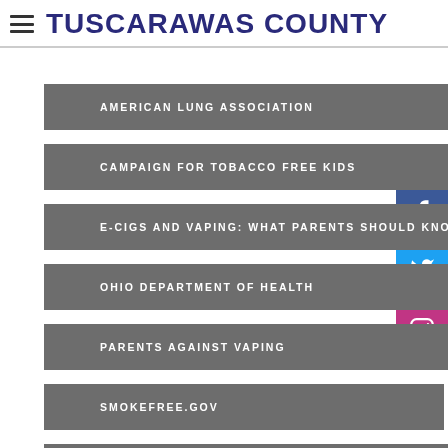TUSCARAWAS COUNTY
AMERICAN LUNG ASSOCIATION
CAMPAIGN FOR TOBACCO FREE KIDS
E-CIGS AND VAPING: WHAT PARENTS SHOULD KNOW
OHIO DEPARTMENT OF HEALTH
PARENTS AGAINST VAPING
SMOKEFREE.GOV
TIPS FOR TALKING TO YOUR KIDS ABOUT SMOKING